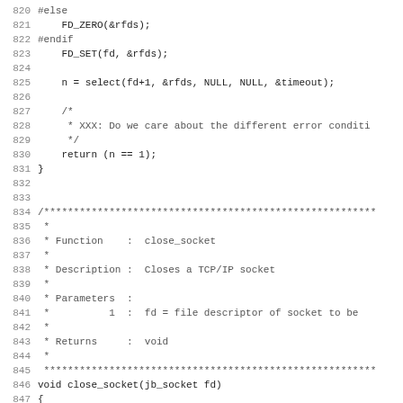[Figure (screenshot): Source code listing showing lines 820-851 of a C file, including socket-related code with FD_ZERO, FD_SET, select(), a comment block for close_socket function, and the function signature with platform-specific ifdefs.]